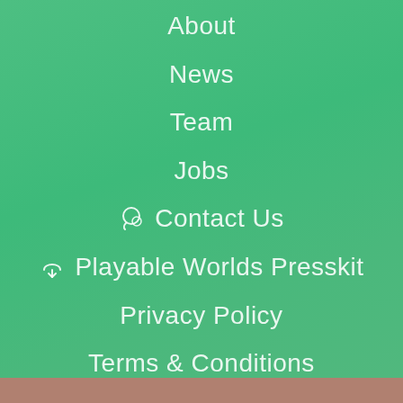About
News
Team
Jobs
Contact Us
Playable Worlds Presskit
Privacy Policy
Terms & Conditions